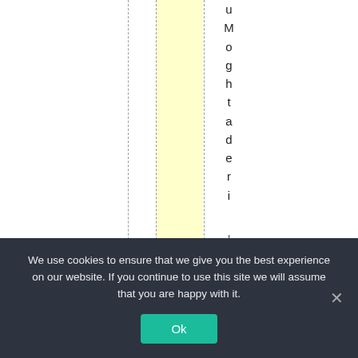[Figure (other): Document page with vertical dashed lines, a yellow highlighted column, and vertically-stacked characters spelling out: u M o g h t a d e r i , s a i d " g r]
We use cookies to ensure that we give you the best experience on our website. If you continue to use this site we will assume that you are happy with it. Ok